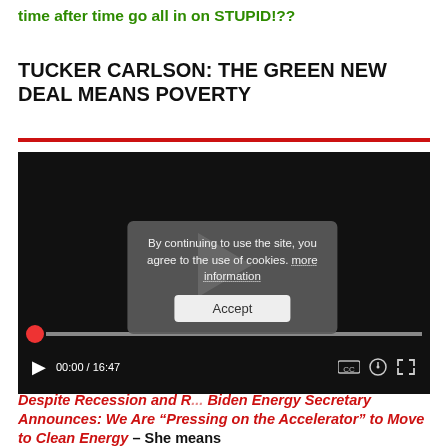time after time go all in on STUPID!??
TUCKER CARLSON: THE GREEN NEW DEAL MEANS POVERTY
[Figure (screenshot): Embedded video player with black background, white play button in center, red progress dot, video controls bar showing 00:00 / 16:47, and a cookie consent popup overlay reading 'By continuing to use the site, you agree to the use of cookies. more information' with an Accept button.]
Despite Recession and R... Biden Energy Secretary Announces: We Are “Pressing on the Accelerator” to Move to Clean Energy – She means